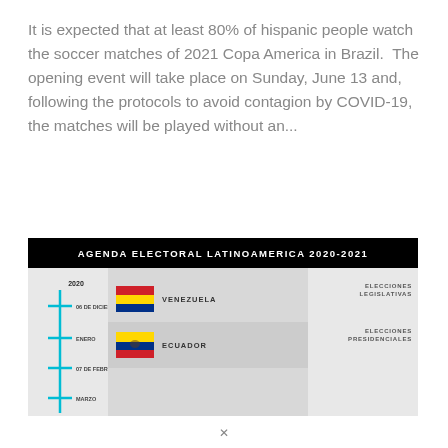It is expected that at least 80% of hispanic people watch the soccer matches of 2021 Copa America in Brazil.  The opening event will take place on Sunday, June 13 and, following the protocols to avoid contagion by COVID-19, the matches will be played without an...
[Figure (infographic): Infographic titled 'AGENDA ELECTORAL LATINOAMERICA 2020-2021' showing a timeline with Venezuela (06 de Diciembre, Elecciones Legislativas) and Ecuador (07 de Febrero, Elecciones Presidenciales), with years 2020 and months Enero, Marzo marked on a cyan timeline.]